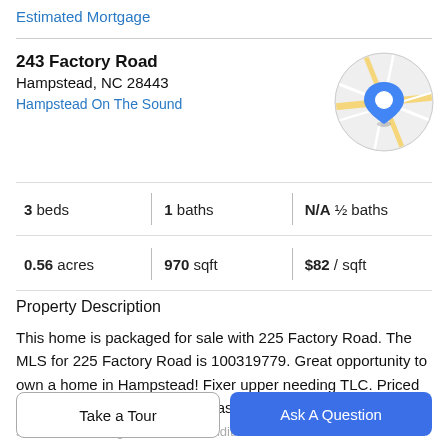Estimated Mortgage
243 Factory Road
Hampstead, NC 28443
Hampstead On The Sound
[Figure (map): Circular map thumbnail showing a location pin marker on a street map]
3 beds | 1 baths | N/A ½ baths
0.56 acres | 970 sqft | $82 / sqft
Property Description
This home is packaged for sale with 225 Factory Road. The MLS for 225 Factory Road is 100319779. Great opportunity to own a home in Hampstead! Fixer upper needing TLC. Priced right! Topsail School district. Cash sale. Homes being sold in as is condition. Cash sale with
Take a Tour
Ask A Question